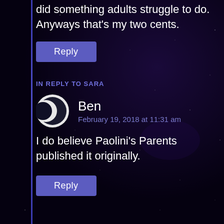did something adults struggle to do. Anyways that's my two cents.
Reply
IN REPLY TO SARA
Ben
February 19, 2018 at 11:31 am
I do believe Paolini's Parents published it originally.
Reply